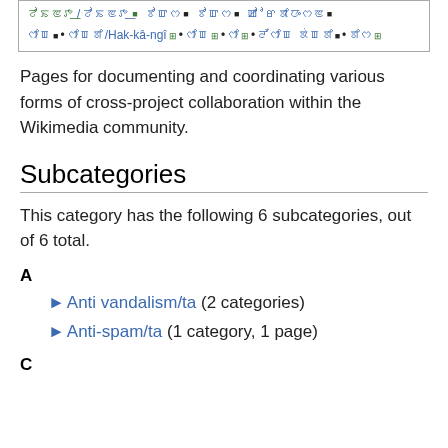[Figure (other): Navigation box with multilingual links including Hak-kâ-ngî and other language variants, shown as blue and green linked text with superscript icons]
Pages for documenting and coordinating various forms of cross-project collaboration within the Wikimedia community.
Subcategories
This category has the following 6 subcategories, out of 6 total.
A
► Anti vandalism/ta (2 categories)
► Anti-spam/ta (1 category, 1 page)
C